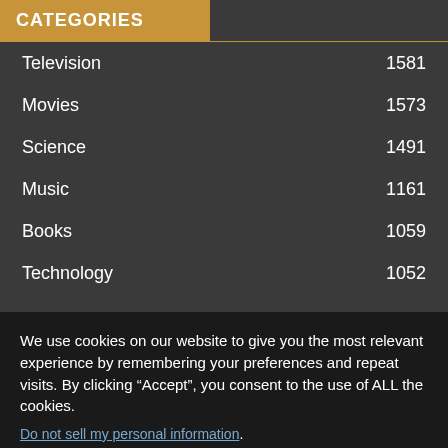CATEGORIES
Television 1581
Movies 1573
Science 1491
Music 1161
Books 1059
Technology 1052
We use cookies on our website to give you the most relevant experience by remembering your preferences and repeat visits. By clicking “Accept”, you consent to the use of ALL the cookies.
Do not sell my personal information.